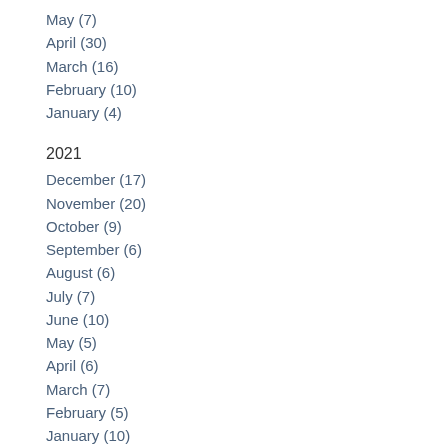May (7)
April (30)
March (16)
February (10)
January (4)
2021
December (17)
November (20)
October (9)
September (6)
August (6)
July (7)
June (10)
May (5)
April (6)
March (7)
February (5)
January (10)